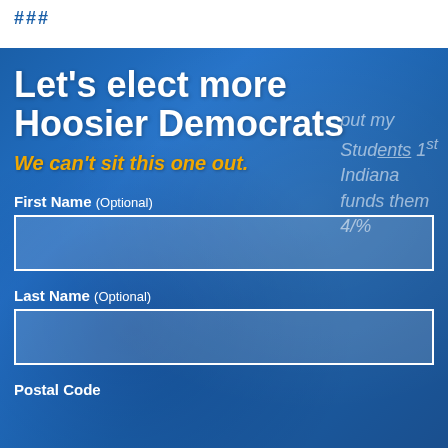###
[Figure (photo): Blue-tinted photo of a political protest rally with people holding signs, including one that reads 'put my Students 1st Indiana funds them 4/%']
Let's elect more Hoosier Democrats
We can't sit this one out.
First Name (Optional)
Last Name (Optional)
Postal Code